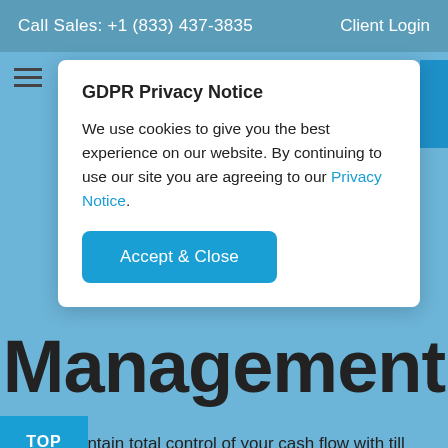Call Sales: +1 (833) 437-3835    Client Login
GDPR Privacy Notice
We use cookies to give you the best experience on our website. By continuing to use our site you are agreeing to our Privacy Notice.
Accept & Close
Management
Maintain total control of your cash flow with till management. Capitalize on rich permission settings and a log that tracks activity so that you can rest assured your cash is right where it